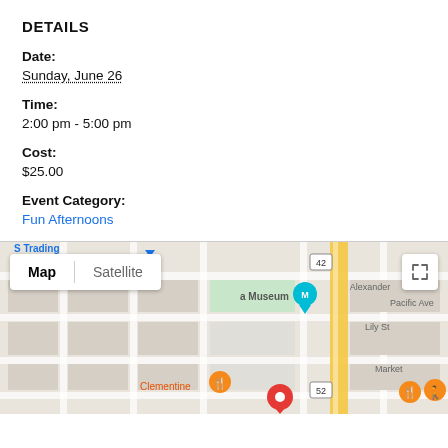DETAILS
Date:
Sunday, June 26
Time:
2:00 pm - 5:00 pm
Cost:
$25.00
Event Category:
Fun Afternoons
[Figure (map): Google Maps embed showing a street map with Map and Satellite toggle buttons. Shows streets including Pacific Ave, Lily St, Alexander, Market. Location markers visible including a museum marker (M), restaurant markers, and a red pin. Street label 'Clementine' visible in orange. Road numbers 42 and 52 shown.]